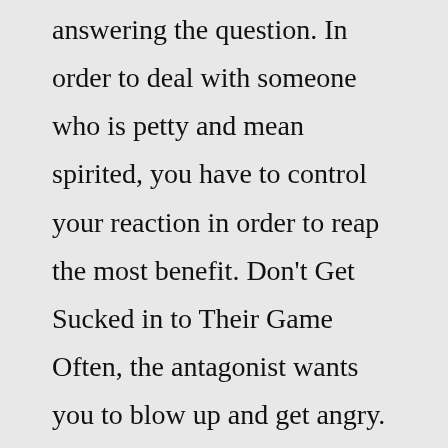answering the question. In order to deal with someone who is petty and mean spirited, you have to control your reaction in order to reap the most benefit. Don't Get Sucked in to Their Game Often, the antagonist wants you to blow up and get angry. If you do, you're essentially rewarding their efforts. They walk away thinking you're the mean one, and in a sense, you are.The best thing about me is